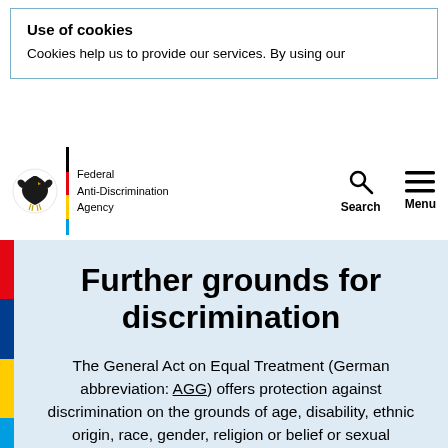Use of cookies
Cookies help us to provide our services. By using our
[Figure (logo): Federal Anti-Discrimination Agency logo with German eagle and vertical color bar (black, red, yellow, blue)]
Further grounds for discrimination
The General Act on Equal Treatment (German abbreviation: AGG) offers protection against discrimination on the grounds of age, disability, ethnic origin, race, gender, religion or belief or sexual orientation. But people also experience discrimination